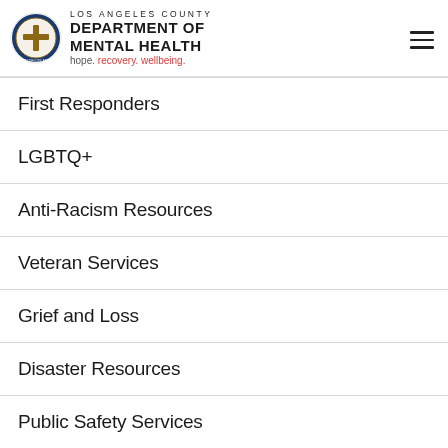[Figure (logo): Los Angeles County Department of Mental Health logo with circular seal and text: LOS ANGELES COUNTY DEPARTMENT OF MENTAL HEALTH hope. recovery. wellbeing.]
First Responders
LGBTQ+
Anti-Racism Resources
Veteran Services
Grief and Loss
Disaster Resources
Public Safety Services
Speakers Bureau